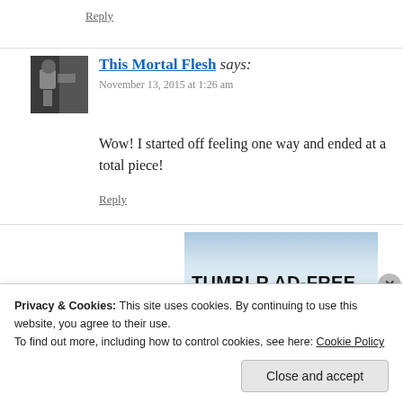Reply
This Mortal Flesh says:
November 13, 2015 at 1:26 am
Wow! I started off feeling one way and ended at a total piece!
Reply
[Figure (screenshot): Tumblr AD-FREE promotional banner with blue gradient background]
Privacy & Cookies: This site uses cookies. By continuing to use this website, you agree to their use.
To find out more, including how to control cookies, see here: Cookie Policy
Close and accept